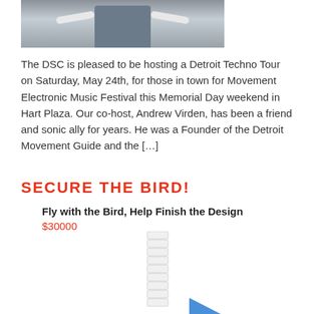[Figure (photo): A person in a gray t-shirt with arms spread wide, standing in front of a building with glass doors. The image is cropped showing from roughly chest down to waist up.]
The DSC is pleased to be hosting a Detroit Techno Tour on Saturday, May 24th, for those in town for Movement Electronic Music Festival this Memorial Day weekend in Hart Plaza. Our co-host, Andrew Virden, has been a friend and sonic ally for years. He was a Founder of the Detroit Movement Guide and the […]
SECURE THE BIRD!
Fly with the Bird, Help Finish the Design
$30000
[Figure (illustration): A tall segmented cylindrical tower/column structure in white/light gray, with a partial blue angular shape visible at the bottom right. Appears to be an architectural or sculptural illustration.]